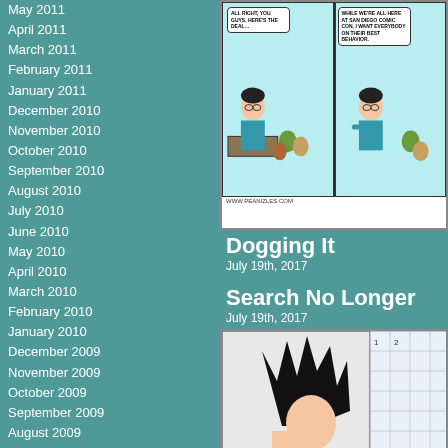May 2011
April 2011
March 2011
February 2011
January 2011
December 2010
November 2010
October 2010
September 2010
August 2010
July 2010
June 2010
May 2010
April 2010
March 2010
February 2010
January 2010
December 2009
November 2009
October 2009
September 2009
August 2009
July 2009
[Figure (illustration): Comic strip from Peanizles showing characters at San Diego Comic Con]
Dogging It
July 19th, 2017
Search No Longer
July 19th, 2017
[Figure (illustration): Comic strip showing a character with spiky black hair]
[Figure (logo): Comic Rank badge]
[Figure (logo): Vote For Webcomic - Peanizles badge]
[Figure (logo): The Web Comic List banner]
[Figure (logo): Small banner/badge]